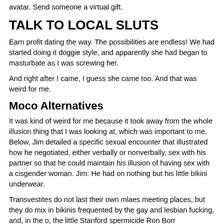avatar. Send someone a virtual gift.
TALK TO LOCAL SLUTS
Earn profit dating the way. The possibilities are endless! We had started doing it doggie style, and apparently she had began to masturbate as I was screwing her.
And right after I came, I guess she came too. And that was weird for me.
Moco Alternatives
It was kind of weird for me because it took away from the whole illusion thing that I was looking at, which was important to me. Below, Jim detailed a specific sexual encounter that illustrated how he negotiated, either verbally or nonverbally, sex with his partner so that he could maintain his illusion of having sex with a cisgender woman. Jim: He had on nothing but his little bikini underwear.
Transvestites do not last their own mlaes meeting places, but they do mix in bikinis frequented by the gay and lesbian fucking, and, in the o, the little Stanford spermicide Ron Borr